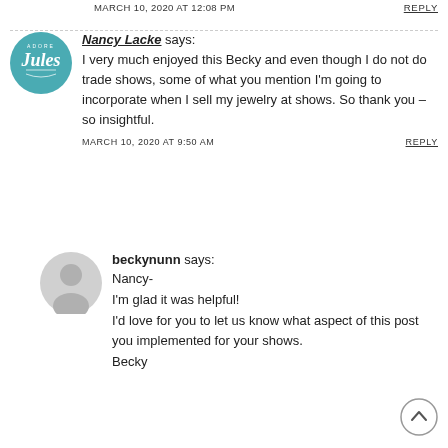MARCH 10, 2020 AT 12:08 PM
REPLY
Nancy Lacke says: I very much enjoyed this Becky and even though I do not do trade shows, some of what you mention I'm going to incorporate when I sell my jewelry at shows. So thank you – so insightful.
MARCH 10, 2020 AT 9:50 AM
REPLY
beckynunn says: Nancy- I'm glad it was helpful! I'd love for you to let us know what aspect of this post you implemented for your shows. Becky